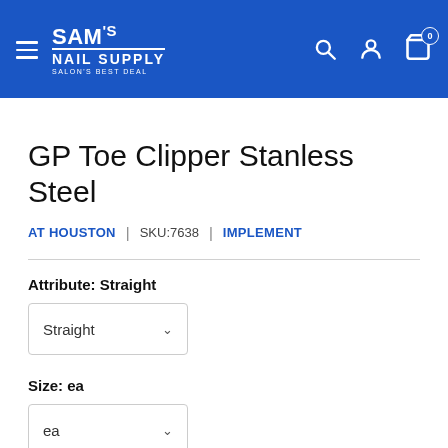[Figure (screenshot): SAM's NAIL SUPPLY website header with logo, hamburger menu, search, account, and cart icons on blue background]
GP Toe Clipper Stanless Steel
AT HOUSTON | SKU:7638 | IMPLEMENT
Attribute: Straight
Straight (dropdown)
Size: ea
ea (dropdown)